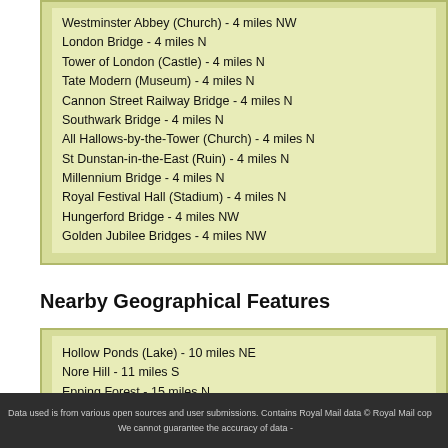Westminster Abbey (Church) - 4 miles NW
London Bridge - 4 miles N
Tower of London (Castle) - 4 miles N
Tate Modern (Museum) - 4 miles N
Cannon Street Railway Bridge - 4 miles N
Southwark Bridge - 4 miles N
All Hallows-by-the-Tower (Church) - 4 miles N
St Dunstan-in-the-East (Ruin) - 4 miles N
Millennium Bridge - 4 miles N
Royal Festival Hall (Stadium) - 4 miles N
Hungerford Bridge - 4 miles NW
Golden Jubilee Bridges - 4 miles NW
Nearby Geographical Features
Hollow Ponds (Lake) - 10 miles NE
Nore Hill - 11 miles S
Epping Forest - 15 miles N
Data used is from various open sources and user submissions. Contains Royal Mail data © Royal Mail cop
We cannot guarantee the accuracy of data -